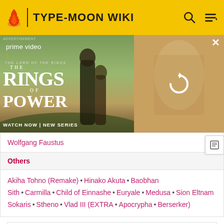TYPE-MOON WIKI
[Figure (screenshot): Amazon Prime Video advertisement for The Rings of Power series, showing two characters and a reload button on right panel]
Wolfgang Faustus
Others
Akiha Tohno (Remake) • Hinako Akuta • Baobhan Sith • Carmilla • Child of Einnashe • Euryale • Medusa • Sion Eltnam Sokaris • Stheno • Vlad III (EXTRA • Apocrypha • Berserker)
Tsukihime characters
Main characters